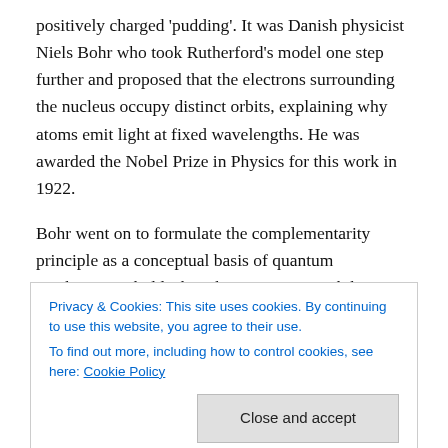positively charged 'pudding'. It was Danish physicist Niels Bohr who took Rutherford's model one step further and proposed that the electrons surrounding the nucleus occupy distinct orbits, explaining why atoms emit light at fixed wavelengths. He was awarded the Nobel Prize in Physics for this work in 1922.
Bohr went on to formulate the complementarity principle as a conceptual basis of quantum mechanics. It holds that phenomena can exhibit contradictory but complementary properties that cannot be observed simultaneously, for
Privacy & Cookies: This site uses cookies. By continuing to use this website, you agree to their use.
To find out more, including how to control cookies, see here: Cookie Policy
chose the yin-yang symbol and the motto contraria sunt